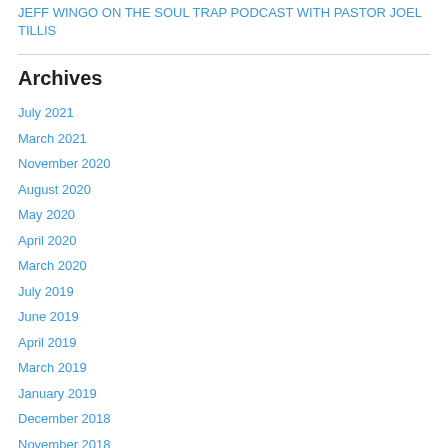JEFF WINGO ON THE SOUL TRAP PODCAST WITH PASTOR JOEL TILLIS
Archives
July 2021
March 2021
November 2020
August 2020
May 2020
April 2020
March 2020
July 2019
June 2019
April 2019
March 2019
January 2019
December 2018
November 2018